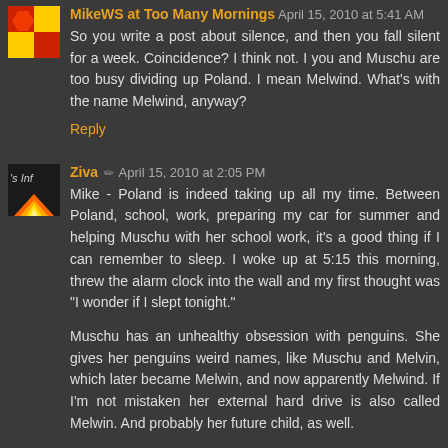MikeWS at Too Many Mornings April 15, 2010 at 5:41 AM
So you write a post about silence, and then you fall silent for a week. Coincidence? I think not. I you and Muschu are too busy dividing up Poland. I mean Melwind. What's with the name Melwind, anyway?
Reply
Ziva ✏ April 15, 2010 at 2:05 PM
Mike - Poland is indeed taking up all my time. Between Poland, school, work, preparing my car for summer and helping Muschu with her school work, it's a good thing if I can remember to sleep. I woke up at 5:15 this morning, threw the alarm clock into the wall and my first thought was "I wonder if I slept tonight."
Muschu has an unhealthy obsession with penguins. She gives her penguins weird names, like Muschu and Melvin, which later became Melwin, and now apparently Melwind. If I'm not mistaken her external hard drive is also called Melwin. And probably her future child, as well.